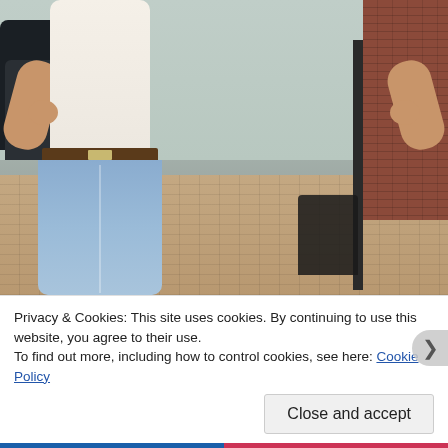[Figure (photo): A woman standing on a brick sidewalk street wearing a white sleeveless tied shirt, black tank underneath, brown leather belt, and light blue jeans. Background shows parked cars on the left, a brick building and black lamp post on the right.]
Privacy & Cookies: This site uses cookies. By continuing to use this website, you agree to their use.
To find out more, including how to control cookies, see here: Cookie Policy
Close and accept